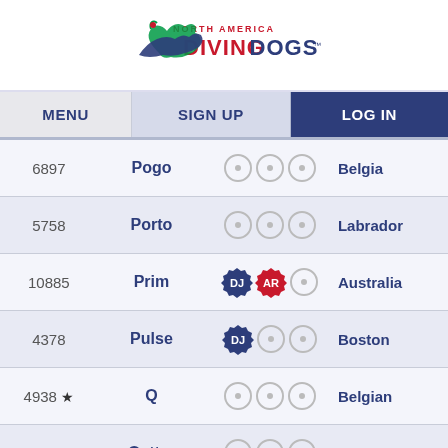[Figure (logo): North America Diving Dogs logo with a jumping dog silhouette and red/blue text]
| ID | Name | Icons | Breed |
| --- | --- | --- | --- |
| 6897 | Pogo | ··· | Belgia… |
| 5758 | Porto | ··· | Labrador… |
| 10885 | Prim | DJ AR · | Australia… |
| 4378 | Pulse | DJ · · | Boston… |
| 4938 ★ | Q | ··· | Belgian… |
| 8206 | Qettra | ··· | Bord… |
| 4522 | Reba | ·· | Nova Scotia Du… |
| 4202 ★ | Relay | ··· | Wh… |
Scroll to Top